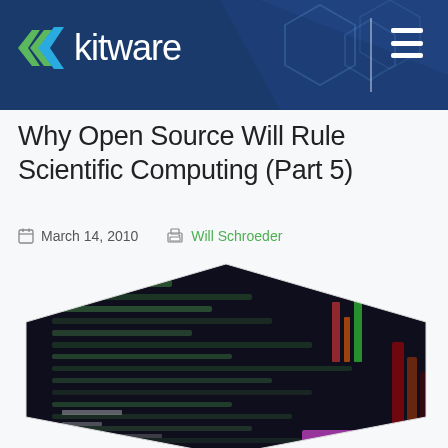Kitware
Why Open Source Will Rule Scientific Computing (Part 5)
March 14, 2010   Will Schroeder
[Figure (photo): Hexagon-shaped photo of blurred terminal/code screen with colorful outputs, shown on a dark background]